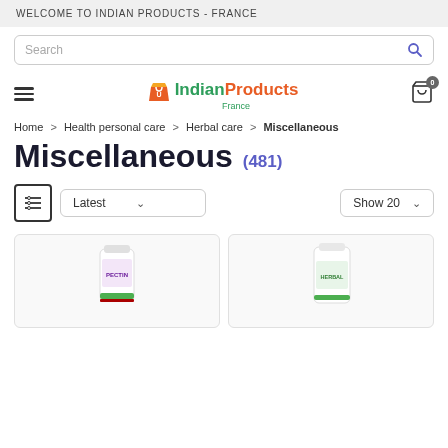WELCOME TO INDIAN PRODUCTS - FRANCE
Search
[Figure (logo): Indian Products France logo with shopping bag icon, 'Indian' in green and 'Products' in orange, 'France' below in green]
Home > Health personal care > Herbal care > Miscellaneous
Miscellaneous (481)
Latest  Show 20
[Figure (photo): Two product bottles (supplements) shown side by side, white caps, labels partially visible]
[Figure (photo): Product bottle on the right side]